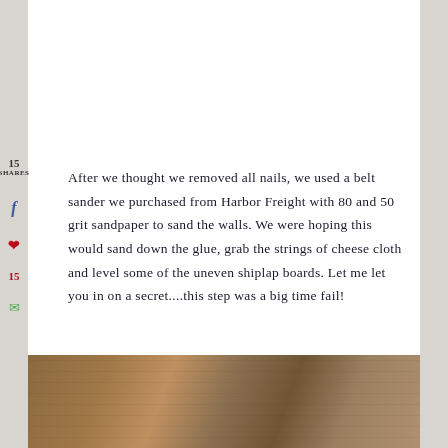[Figure (photo): Photo of person working on shiplap wall, removing nails or sanding]
After we thought we removed all nails, we used a belt sander we purchased from Harbor Freight with 80 and 50 grit sandpaper to sand the walls. We were hoping this would sand down the glue, grab the strings of cheese cloth and level some of the uneven shiplap boards. Let me let you in on a secret....this step was a big time fail!
[Figure (photo): Person using a belt sander on shiplap wooden wall boards]